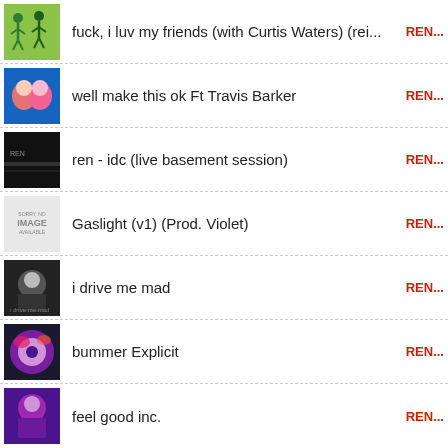fuck, i luv my friends (with Curtis Waters) (rei...
well make this ok Ft Travis Barker
ren - idc (live basement session)
Gaslight (v1) (Prod. Violet)
i drive me mad
bummer Explicit
feel good inc.